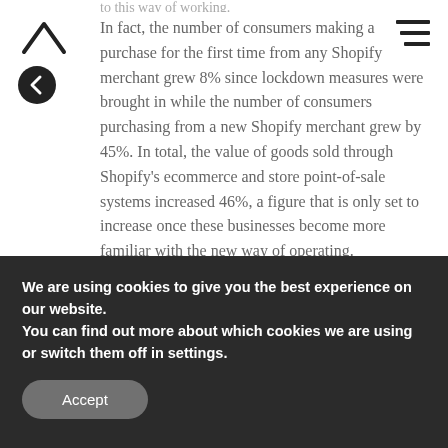to this way of working.
[Figure (logo): Lambda/caret logo mark in dark color]
[Figure (other): Hamburger menu icon (three horizontal lines)]
[Figure (other): Back navigation button - dark circle with left arrow]
In fact, the number of consumers making a purchase for the first time from any Shopify merchant grew 8% since lockdown measures were brought in while the number of consumers purchasing from a new Shopify merchant grew by 45%. In total, the value of goods sold through Shopify's ecommerce and store point-of-sale systems increased 46%, a figure that is only set to increase once these businesses become more familiar with the new way of operating.
We are using cookies to give you the best experience on our website.
You can find out more about which cookies we are using or switch them off in settings.
Accept